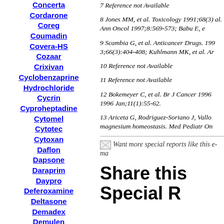Concerta
Cordarone
Coreg
Coumadin
Covera-HS
Cozaar
Crixivan
Cyclobenzaprine Hydrochloride
Cycrin
Cyproheptadine
Cytomel
Cytotec
Cytoxan
Daflon
Dapsone
Daraprim
Daypro
Deferoxamine
Deltasone
Demadex
Demulen
Depakote
Desipramine
Desogen
7 Reference not Available
8 Jones MM, et al. Toxicology 1991;68(3) al. Ann Oncol 1997;8:569-573; Babu E, e
9 Scambia G, et al. Anticancer Drugs. 199 3;66(3):404-408; Kuhlmann MK, et al. Ar
10 Reference not Available
11 Reference not Available
12 Bokemeyer C, et al. Br J Cancer 1996 1996 Jan;11(1):55-62.
13 Ariceta G, Rodriguez-Soriano J, Vallo magnesium homeostasis. Med Pediatr On
[Figure (other): Want more special reports like this e-ma (image placeholder/broken image)]
Share this Special R